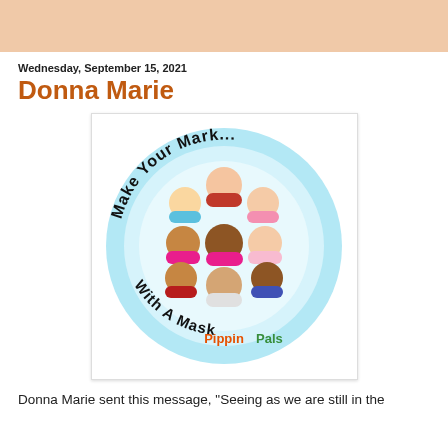Wednesday, September 15, 2021
Donna Marie
[Figure (illustration): Circular illustration with cartoon children characters wearing various face masks, arranged in a circle. Text around the top reads 'Make Your Mark...' and text around the bottom reads 'With A Mask'. At the bottom center is a colorful logo reading 'Pippin Pals'. The background of the circle is light blue.]
Donna Marie sent this message, "Seeing as we are still in the